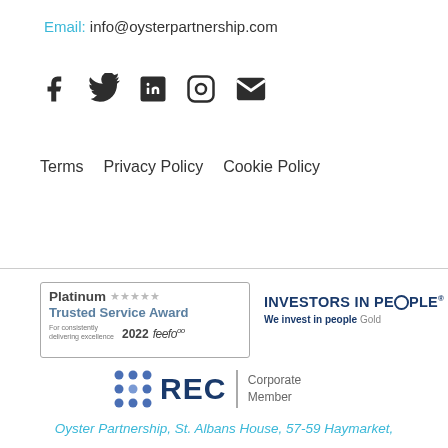Email: info@oysterpartnership.com
[Figure (infographic): Social media icons: Facebook, Twitter, LinkedIn, Instagram, Email]
Terms   Privacy Policy   Cookie Policy
[Figure (infographic): Feefo Platinum Trusted Service Award 2022 badge with stars]
[Figure (logo): Investors in People - We invest in people Gold logo]
[Figure (logo): REC Corporate Member logo]
Oyster Partnership, St. Albans House, 57-59 Haymarket,